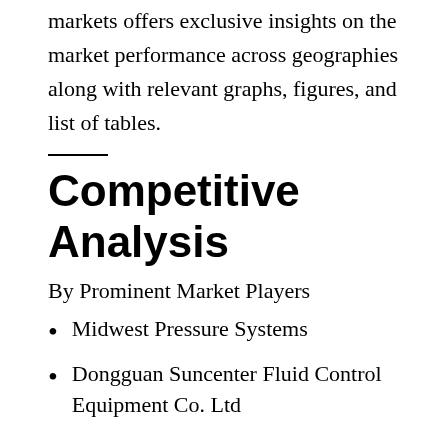markets offers exclusive insights on the market performance across geographies along with relevant graphs, figures, and list of tables.
Competitive Analysis
By Prominent Market Players
Midwest Pressure Systems
Dongguan Suncenter Fluid Control Equipment Co. Ltd